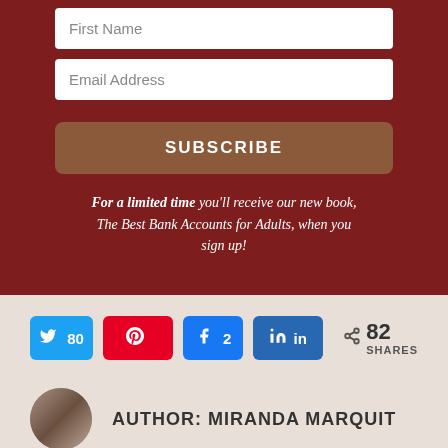[Figure (screenshot): Dark red subscription form with First Name and Email Address input fields, a SUBSCRIBE button, and promotional italic text about a free book offer.]
For a limited time you'll receive our new book, The Best Bank Accounts for Adults, when you sign up!
[Figure (infographic): Social share bar with Twitter (80), Pinterest, Facebook (2), LinkedIn buttons and total 82 SHARES.]
AUTHOR: MIRANDA MARQUIT